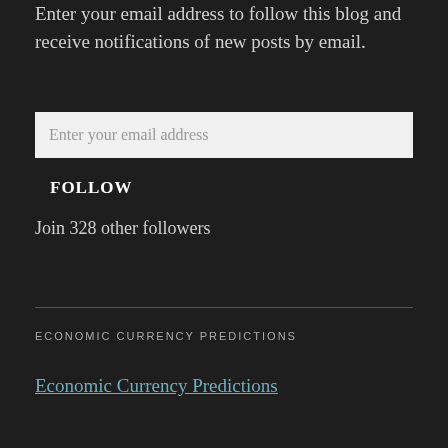Enter your email address to follow this blog and receive notifications of new posts by email.
Enter your email address
FOLLOW
Join 328 other followers
ECONOMIC CURRENCY PREDICTIONS
Economic Currency Predictions